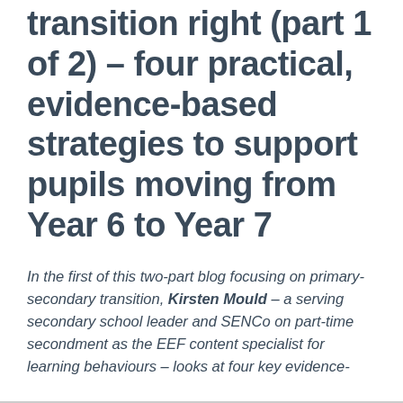transition right (part 1 of 2) – four practical, evidence-based strategies to support pupils moving from Year 6 to Year 7
In the first of this two-part blog focusing on primary-secondary transition, Kirsten Mould – a serving secondary school leader and SENCo on part-time secondment as the EEF content specialist for learning behaviours – looks at four key evidence-